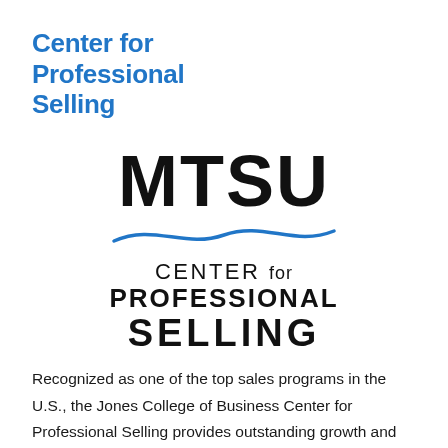Center for Professional Selling
[Figure (logo): MTSU Center for Professional Selling logo with large bold MTSU text, a blue wave graphic underneath, and stacked text reading CENTER for PROFESSIONAL SELLING]
Recognized as one of the top sales programs in the U.S., the Jones College of Business Center for Professional Selling provides outstanding growth and